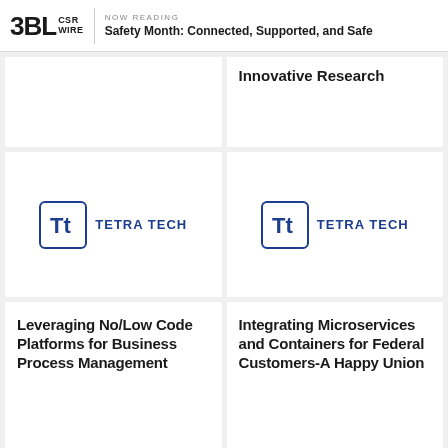NOW READING | Safety Month: Connected, Supported, and Safe
Innovative Research
[Figure (logo): Tetra Tech logo with icon box and text]
[Figure (logo): Tetra Tech logo with icon box and text]
Leveraging No/Low Code Platforms for Business Process Management
Integrating Microservices and Containers for Federal Customers-A Happy Union